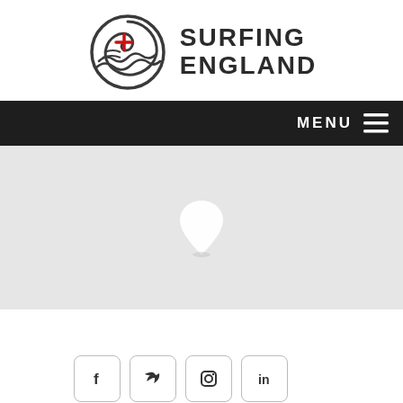[Figure (logo): Surfing England logo: circular wave motif with a red cross of England in the center, next to bold dark text reading SURFING ENGLAND]
[Figure (screenshot): Dark navigation bar with MENU text and hamburger icon on the right]
[Figure (map): Light grey map area with a white map pin/location icon in the center]
[Figure (illustration): Social media icons: Facebook (f), Twitter (bird), Instagram (camera), LinkedIn (in), each in a rounded square border]